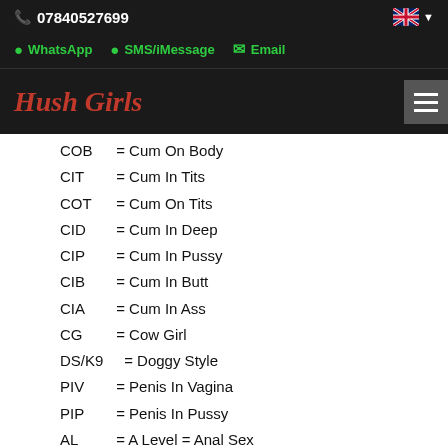07840527699
WhatsApp  SMS/iMessage  Email
Hush Girls
COB = Cum On Body
CIT = Cum In Tits
COT = Cum On Tits
CID = Cum In Deep
CIP = Cum In Pussy
CIB = Cum In Butt
CIA = Cum In Ass
CG = Cow Girl
DS/K9 = Doggy Style
PIV = Penis In Vagina
PIP = Penis In Pussy
AL = A Level = Anal Sex
ATM = Ass To Mouth
MFF = Male Female Female (Threesome)